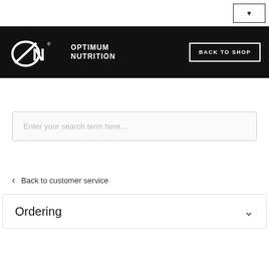[Figure (screenshot): Language selector dropdown button in top right corner]
[Figure (logo): Optimum Nutrition logo (ON logo mark with text OPTIMUM NUTRITION) on black navigation bar]
BACK TO SHOP
Enter your search term here...
< Back to customer service
Ordering